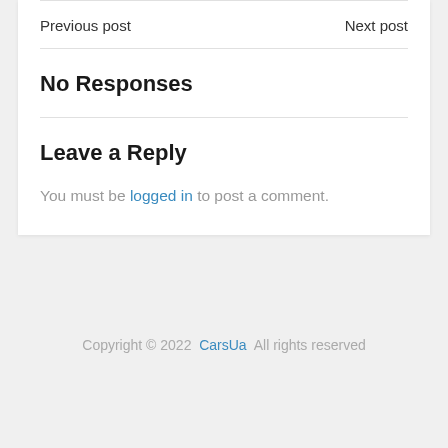Previous post   Next post
No Responses
Leave a Reply
You must be logged in to post a comment.
Copyright © 2022  CarsUa  All rights reserved